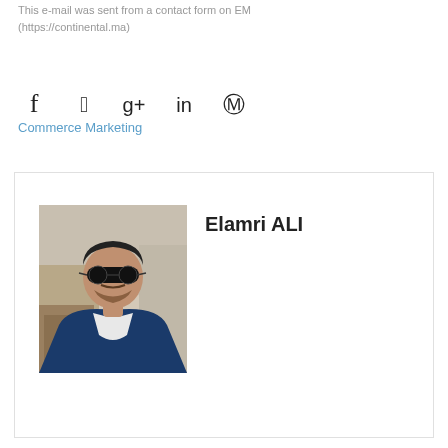This e-mail was sent from a contact form on EM (https://continental.ma)
[Figure (infographic): Social media share icons: Facebook (f), Twitter (bird), Google+ (g+), LinkedIn (in), Pinterest (pin)]
Commerce Marketing
[Figure (photo): Photo of Elamri ALI, a man wearing sunglasses in a cafe/restaurant setting, wearing a blue jacket and white shirt]
Elamri ALI